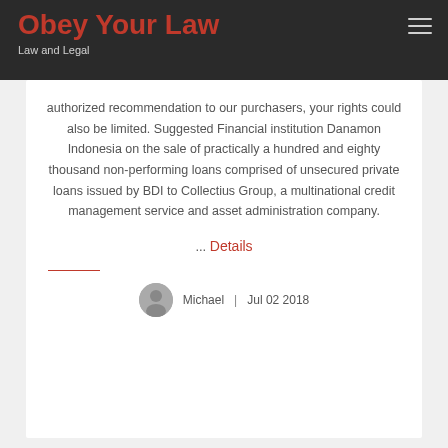Obey Your Law — Law and Legal
authorized recommendation to our purchasers, your rights could also be limited. Suggested Financial institution Danamon Indonesia on the sale of practically a hundred and eighty thousand non-performing loans comprised of unsecured private loans issued by BDI to Collectius Group, a multinational credit management service and asset administration company.
... Details
Michael | Jul 02 2018